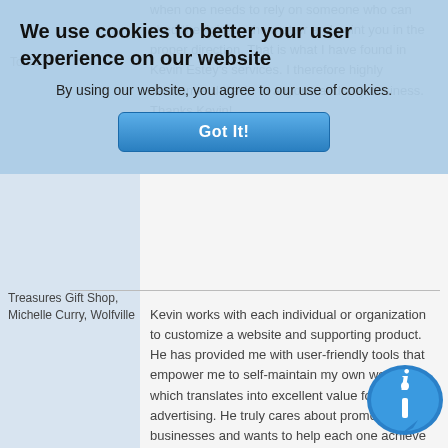[Figure (screenshot): Cookie consent overlay banner on a webpage with title 'We use cookies to better your user experience on our website', informational text, and a 'Got It!' button]
Tours
when one needs to rely on someone who can shed the light on the matter and point you in the proper direction. That is what I have found in Kevin Estey's services. I therefore highly recommend Kevin to anyone and any business. Thanks Kevin!
Treasures Gift Shop, Michelle Curry, Wolfville
Kevin works with each individual or organization to customize a website and supporting product. He has provided me with user-friendly tools that empower me to self-maintain my own website which translates into excellent value for advertising. He truly cares about promoting local businesses and wants to help each one achieve success by sharing knowledge and expertise. Tha... Kevin for being such a key ele... growing my business. Give him... call!